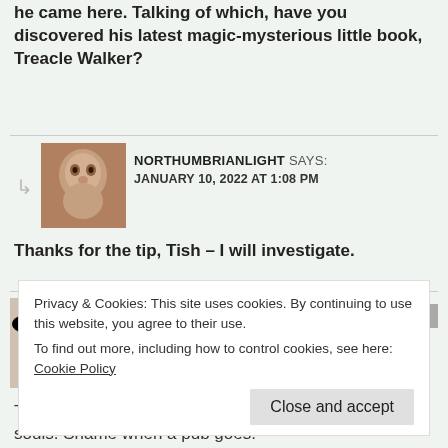he came here. Talking of which, have you discovered his latest magic-mysterious little book, Treacle Walker?
NORTHUMBRIANLIGHT SAYS:
JANUARY 10, 2022 AT 1:08 PM
Thanks for the tip, Tish – I will investigate.
TOONSARAH SAYS:
JANUARY 10, 2022 AT 12:43 PM
The light is so lovely in your photos, and that chapel looks an interesting place to stay. But I'd have been disappointed to find the pub shut!
Privacy & Cookies: This site uses cookies. By continuing to use this website, you agree to their use.
To find out more, including how to control cookies, see here: Cookie Policy
Close and accept
souls. Shame when a pub goes.